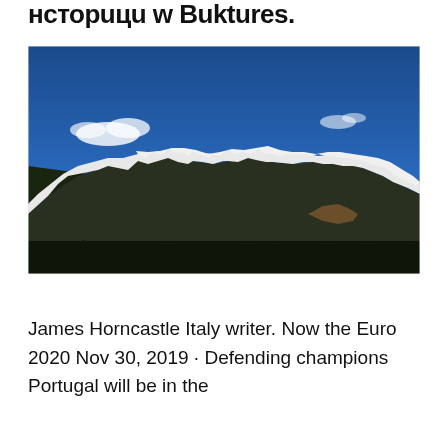нстоpuцu w Buktures.
[Figure (photo): Photograph of snow-capped mountain range under a deep blue sky with a few white clouds. The mountains have dark forested lower slopes and snow-covered rocky peaks. Taken from a low angle looking up at the peaks.]
James Horncastle Italy writer. Now the Euro 2020 Nov 30, 2019 · Defending champions Portugal will be in the